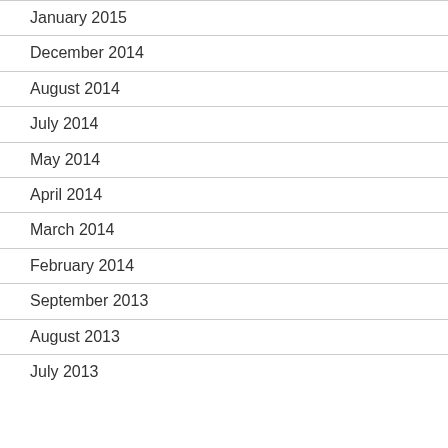January 2015
December 2014
August 2014
July 2014
May 2014
April 2014
March 2014
February 2014
September 2013
August 2013
July 2013